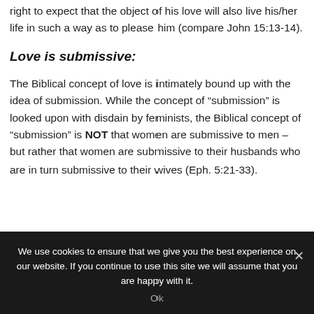right to expect that the object of his love will also live his/her life in such a way as to please him (compare John 15:13-14).
Love is submissive:
The Biblical concept of love is intimately bound up with the idea of submission. While the concept of “submission” is looked upon with disdain by feminists, the Biblical concept of “submission” is NOT that women are submissive to men – but rather that women are submissive to their husbands who are in turn submissive to their wives (Eph. 5:21-33).
We use cookies to ensure that we give you the best experience on our website. If you continue to use this site we will assume that you are happy with it. Ok